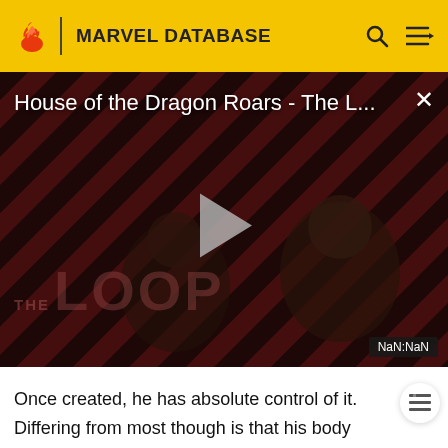MARVEL DATABASE
[Figure (screenshot): Video thumbnail for 'House of the Dragon Roars - The L...' showing two figures with a diagonal red and black stripe background, a play button in the center, 'THE LOOP' text overlay, and a NaN:NaN duration badge.]
Once created, he has absolute control of it. Differing from most though is that his body produces a constant flow of fire and as a result, his body is constantly engulfed in flame and radiates with an orange color. Match can manipulate fire to great